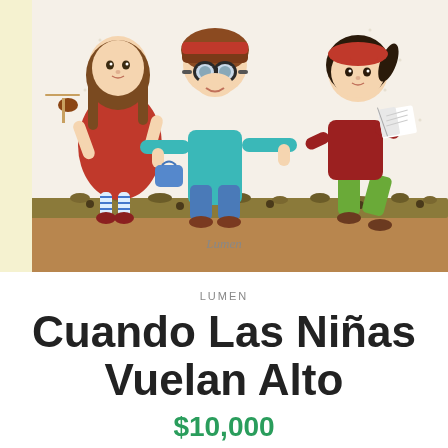[Figure (illustration): Children's book cover illustration showing three cartoon girls: left girl in red dress with striped stockings playing violin, center girl in teal top and blue jeans wearing pilot goggles and hat, right girl in green pants reading a book. Publisher name 'Lumen' appears at the bottom of the illustration. Light cream/beige background with nature elements.]
LUMEN
Cuando Las Niñas Vuelan Alto
$10,000